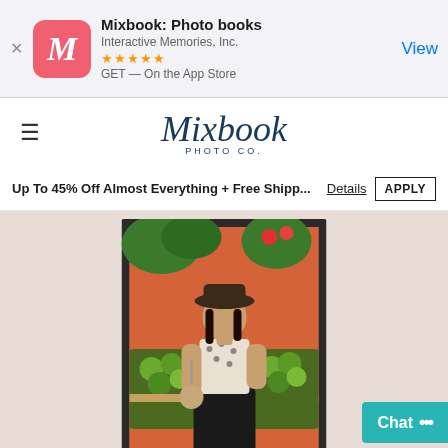[Figure (screenshot): App Store smart banner for Mixbook: Photo books app. Shows app icon (pink/red M logo), app name, developer Interactive Memories Inc., 5 star rating, GET on the App Store, and a blue View button.]
[Figure (logo): Mixbook Photo Co. logo in dark navy script font with PHOTO CO. subtitle]
Up To 45% Off Almost Everything + Free Shipp... Details APPLY
[Figure (photo): Framed photo print of a young woman wearing a wide-brim hat, floral crop top, and black skirt, standing in front of an orange wall with fruits and plants. The photo is displayed as a poster print with a dark frame.]
Poster Prints
Add a personal touch to your space with
Chat